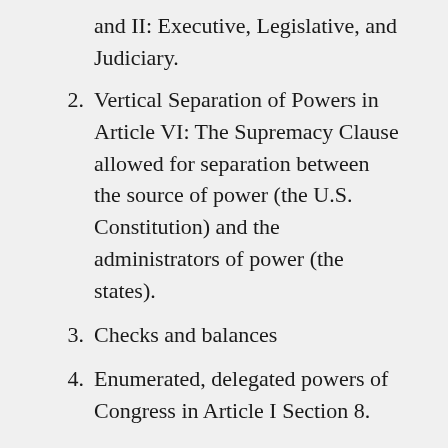and II: Executive, Legislative, and Judiciary.
2. Vertical Separation of Powers in Article VI: The Supremacy Clause allowed for separation between the source of power (the U.S. Constitution) and the administrators of power (the states).
3. Checks and balances
4. Enumerated, delegated powers of Congress in Article I Section 8.
The last two protections spoke to the sinful nature of man and how power corrupts. As Lord Acton put it: “Power tends to corrupt and absolute power corrupts absolutely. Great men are almost always bad men, even when they exercise influence and not authority; still